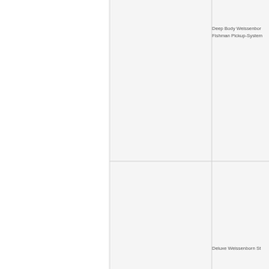Deep Body Weissenbor
Fishman Pickup-System
Deluxe Weissenborn St